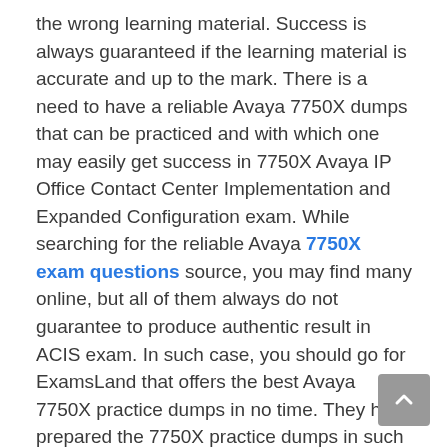the wrong learning material. Success is always guaranteed if the learning material is accurate and up to the mark. There is a need to have a reliable Avaya 7750X dumps that can be practiced and with which one may easily get success in 7750X Avaya IP Office Contact Center Implementation and Expanded Configuration exam. While searching for the reliable Avaya 7750X exam questions source, you may find many online, but all of them always do not guarantee to produce authentic result in ACIS exam. In such case, you should go for ExamsLand that offers the best Avaya 7750X practice dumps in no time. They had prepared the 7750X practice dumps in such a way that helps to ensure one's success in 7750X Avaya IP Office Contact Center Implementation and Expanded Configuration exam.